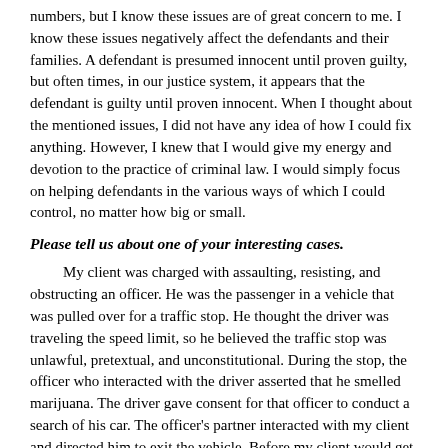numbers, but I know these issues are of great concern to me. I know these issues negatively affect the defendants and their families. A defendant is presumed innocent until proven guilty, but often times, in our justice system, it appears that the defendant is guilty until proven innocent. When I thought about the mentioned issues, I did not have any idea of how I could fix anything. However, I knew that I would give my energy and devotion to the practice of criminal law. I would simply focus on helping defendants in the various ways of which I could control, no matter how big or small.
Please tell us about one of your interesting cases.
My client was charged with assaulting, resisting, and obstructing an officer. He was the passenger in a vehicle that was pulled over for a traffic stop. He thought the driver was traveling the speed limit, so he believed the traffic stop was unlawful, pretextual, and unconstitutional. During the stop, the officer who interacted with the driver asserted that he smelled marijuana. The driver gave consent for that officer to conduct a search of his car. The officer’s partner interacted with my client and directed him to exit the vehicle. Before my client would get out of the car, he questioned the officer. He wanted the officer to articulate why they were initially stopped, why he had to exit the car, and why the car had to be searched (especially because of recreational marijuana). While my client was conversing with the officer, the officer’s partner angrily stormed up to the car and stated, “Get out of the car before I put you out!” My client responded, “No,” and proceeded with his original inquiries. He also told the angry officer to call his supervisor. My client eventually stood up and got out of his